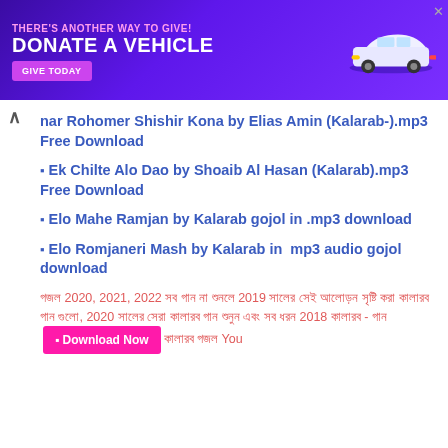[Figure (illustration): Purple advertisement banner: 'THERE'S ANOTHER WAY TO GIVE! DONATE A VEHICLE GIVE TODAY' with car image and close button]
nar Rohomer Shishir Kona by Elias Amin (Kalarab-).mp3 Free Download
⬛ Ek Chilte Alo Dao by Shoaib Al Hasan (Kalarab).mp3 Free Download
⬛ Elo Mahe Ramjan by Kalarab gojol in .mp3 download
⬛ Elo Romjaneri Mash by Kalarab in  mp3 audio gojol download
গজল 2020, 2021, 2022 সব গান না শুনলে 2019 সালের সেই আলোড়ন সৃষ্টি করা কালারব গান গুলো, 2020 সালের সেরা কালারব গান শুনুন এবং সব ধরন 2018 কালারব - গান এ Download Now কালারব গজল You